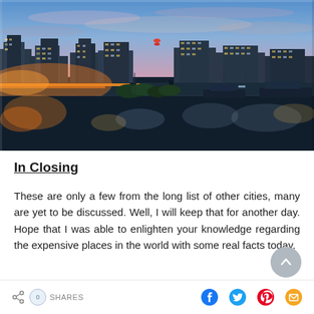[Figure (photo): Aerial/waterfront night view of Auckland, New Zealand harbor with city skyline, Sky Tower illuminated in red and gold, boats moored in the marina, warm orange lights reflected in the water, and dramatic pink and blue sunset sky.]
In Closing
These are only a few from the long list of other cities, many are yet to be discussed. Well, I will keep that for another day. Hope that I was able to enlighten your knowledge regarding the expensive places in the world with some real facts today.